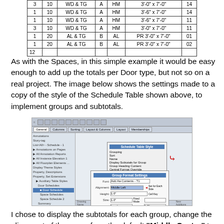| 3 | 10 | WD & TG | A | HM | 3'-0" x 7'-0" | 14 |
| 1 | 10 | WD & TG | A | HM | 3'-6" x 7'-0" | 14 |
| 1 | 10 | WD & TG | A | HM | 3'-6" x 7'-0" | 11 |
| 3 | 10 | WD & TG | A | HM | 3'-0" x 7'-0" | 11 |
| 1 | 20 | AL & TG | B | AL | PR 3'-0" x 7'-0" | 01 |
| 1 | 20 | AL & TG | B | AL | PR 3'-0" x 7'-0" | 02 |
| 12 |  |  |  |  |  |  |
As with the Spaces, in this simple example it would be easy enough to add up the totals per Door type, but not so on a real project. The image below shows the settings made to a copy of the style of the Schedule Table shown above, to implement groups and subtotals.
[Figure (screenshot): Screenshot of a software dialog window showing schedule table style settings with a sub-dialog for group format settings. A red arrow annotation points to a highlighted field. The interface shows a tree panel on the left and settings panels with tabs on the right.]
I chose to display the subtotals for each group, change the alignment of the group from the default "Middle Center" to "Middle Left" and made the same Subtotal Format Override...